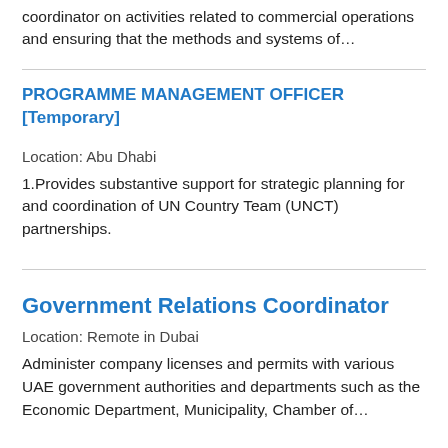coordinator on activities related to commercial operations and ensuring that the methods and systems of…
PROGRAMME MANAGEMENT OFFICER [Temporary]
Location: Abu Dhabi
1.Provides substantive support for strategic planning for and coordination of UN Country Team (UNCT) partnerships.
Government Relations Coordinator
Location: Remote in Dubai
Administer company licenses and permits with various UAE government authorities and departments such as the Economic Department, Municipality, Chamber of…